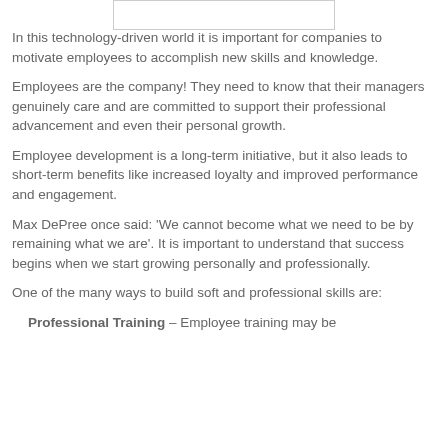[Figure (other): Rectangular placeholder image at top center of page]
In this technology-driven world it is important for companies to motivate employees to accomplish new skills and knowledge.
Employees are the company! They need to know that their managers genuinely care and are committed to support their professional advancement and even their personal growth.
Employee development is a long-term initiative, but it also leads to short-term benefits like increased loyalty and improved performance and engagement.
Max DePree once said: 'We cannot become what we need to be by remaining what we are'. It is important to understand that success begins when we start growing personally and professionally.
One of the many ways to build soft and professional skills are:
Professional Training – Employee training may be